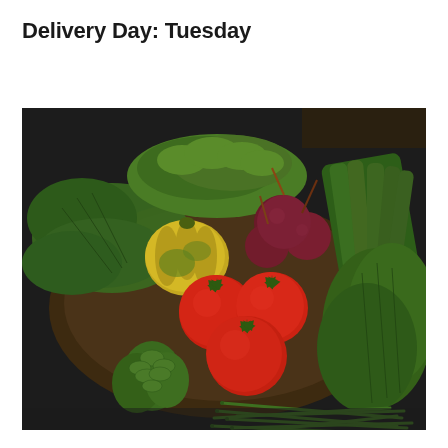Delivery Day: Tuesday
[Figure (photo): A wooden basket or tray filled with fresh vegetables on a dark table, including red heirloom tomatoes, beets with greens, a yellow-green decorative squash, leafy greens, green beans, and bunches of salad leaves and herbs.]